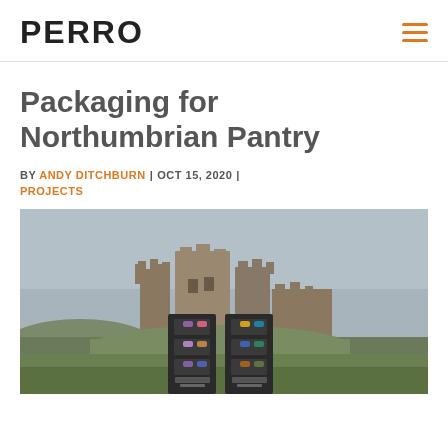PERRO
Packaging for Northumbrian Pantry
BY ANDY DITCHBURN | OCT 15, 2020 | PROJECTS
[Figure (photo): Photo of product packaging boxes containing small bottles with coloured lids, placed in front of a ruined castle on a grassy hill under an overcast grey sky.]